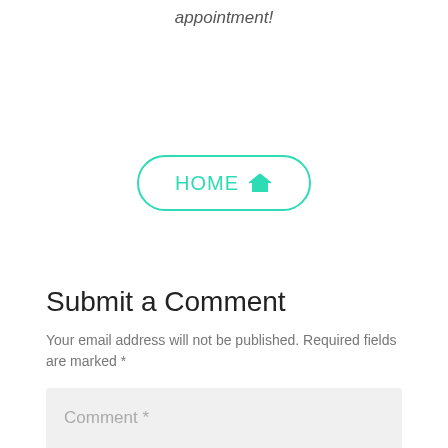appointment!
[Figure (other): HOME button with house icon, teal/turquoise rounded rectangle border]
Submit a Comment
Your email address will not be published. Required fields are marked *
Comment *